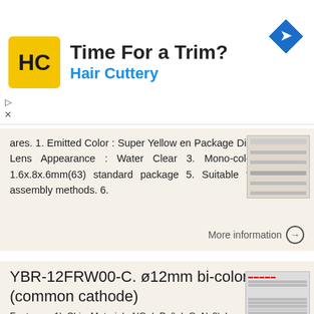[Figure (logo): Hair Cuttery advertisement banner with HC logo, 'Time For a Trim?' headline, 'Hair Cuttery' subtext in blue, and a blue navigation diamond icon]
ares. 1. Emitted Color : Super Yellow en Package Dimensions: 2. Lens Appearance : Water Clear 3. Mono-color type. 4. 1.6x.8x.6mm(63) standard package 5. Suitable for all SMT assembly methods. 6.
More information →
YBR-12FRW00-C. ø12mm bi-color LED (common cathode)
Features: 1) Chip Material: AlGaInP & InGaN 2) Lens Color: Water Clear 3) Source Color: Red & White 4) Pb free 5) The product itself will remain within RoHS compliant version. Dimensions: 13.4 11.5 13.6